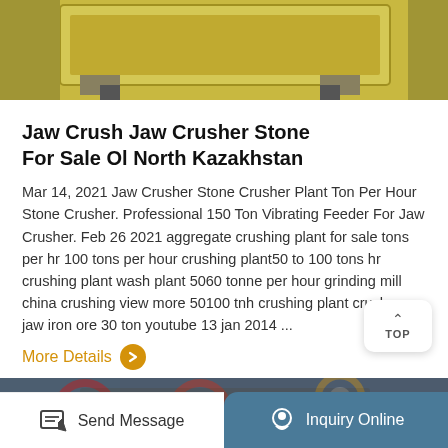[Figure (photo): Yellow jaw crusher machine on wooden pallets in a warehouse/factory setting]
Jaw Crush Jaw Crusher Stone For Sale Ol North Kazakhstan
Mar 14, 2021 Jaw Crusher Stone Crusher Plant Ton Per Hour Stone Crusher. Professional 150 Ton Vibrating Feeder For Jaw Crusher. Feb 26 2021 aggregate crushing plant for sale tons per hr 100 tons per hour crushing plant50 to 100 tons hr crushing plant wash plant 5060 tonne per hour grinding mill china crushing view more 50100 tnh crushing plant crusher jaw iron ore 30 ton youtube 13 jan 2014 ...
More Details
[Figure (photo): Industrial jaw crusher machine with red and yellow wheel components]
Send Message   Inquiry Online